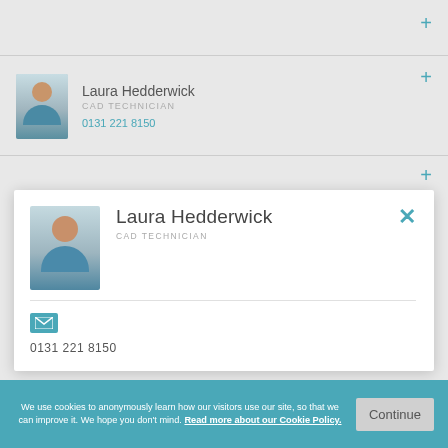[Figure (screenshot): Profile card list screenshot showing a staff directory web interface with expandable contact cards]
Laura Hedderwick
CAD TECHNICIAN
0131 221 8150
Laura Hedderwick
CAD TECHNICIAN
0131 221 8150
Richard Henary
PROJECT ASSOCIATE (MECHANICAL)
020 7504 1400
We use cookies to anonymously learn how our visitors use our site, so that we can improve it. We hope you don't mind. Read more about our Cookie Policy.
Continue